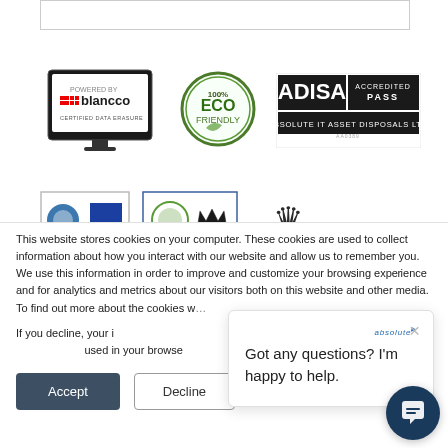[Figure (logo): Blancco certified data erasure monitor logo]
[Figure (logo): 100% ECO Friendly circular badge logo]
[Figure (logo): ADISA Accredited Pass - Absolute IT Asset Disposals Ltd logo]
[Figure (logo): Partial logos row - certification badges partially visible]
This website stores cookies on your computer. These cookies are used to collect information about how you interact with our website and allow us to remember you. We use this information in order to improve and customize your browsing experience and for analytics and metrics about our visitors both on this website and other media. To find out more about the cookies we use, see our Privacy Policy.
If you decline, your information won't be tracked when you visit this website. A single cookie will be used in your browser to remember your preference not to be tracked.
[Figure (screenshot): Chat popup overlay: Got any questions? I'm happy to help. with close X button]
[Figure (illustration): Dark blue circular chat bubble button with speech icon]